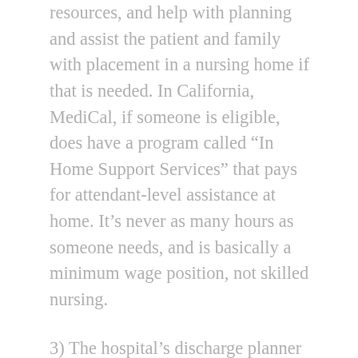resources, and help with planning and assist the patient and family with placement in a nursing home if that is needed. In California, MediCal, if someone is eligible, does have a program called “In Home Support Services” that pays for attendant-level assistance at home. It’s never as many hours as someone needs, and is basically a minimum wage position, not skilled nursing.
3) The hospital’s discharge planner will follow-up by providing resources for potential placement in a nursing home or rehab facility. The patient and his or her